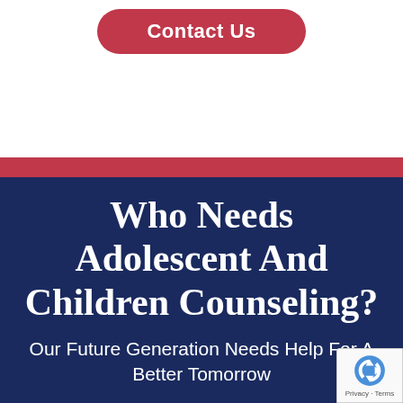[Figure (other): Contact Us button — rounded red pill-shaped button with white text]
Who Needs Adolescent And Children Counseling?
Our Future Generation Needs Help For A Better Tomorrow